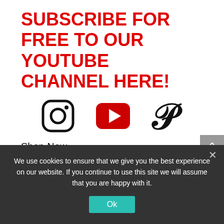SUBSCRIBE FOR FREE TO OUR YOUTUBE CHANNEL HERE!
[Figure (illustration): Three social media icons: Instagram (circle with camera outline), YouTube (red rounded rectangle with play button), Pinterest (stylized P)]
Shop Now
We use cookies to ensure that we give you the best experience on our website. If you continue to use this site we will assume that you are happy with it.